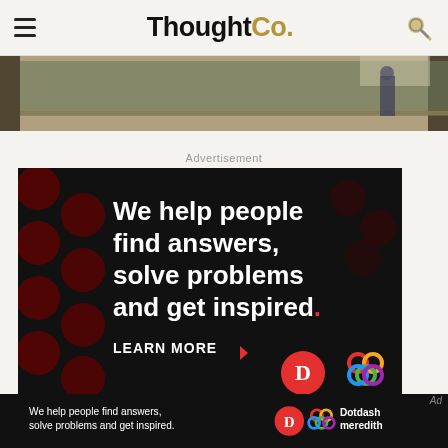ThoughtCo.
[Figure (photo): Cropped photo of a classroom or gymnasium with people near a chalkboard]
Advertisement
[Figure (infographic): Dotdash Meredith advertisement on black background with red polka dots. Text: We help people find answers, solve problems and get inspired. LEARN MORE. Dotdash D logo and Dotdash Meredith colorful logo.]
[Figure (infographic): Bottom strip ad: We help people find answers, solve problems and get inspired. Dotdash D logo and Dotdash meredith logo with text Dotdash meredith]